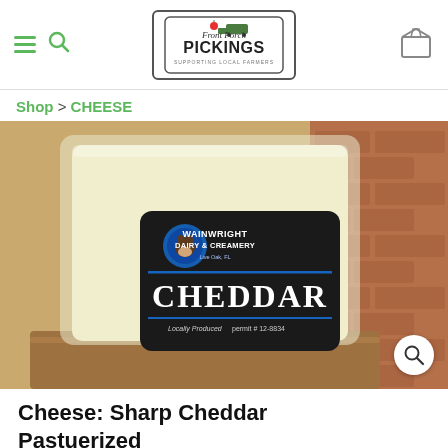Front Porch PICKINGS - Supporting Local Farmers
Shop > CHEESE
[Figure (photo): A vacuum-sealed block of white Wainwright Dairy & Creamery Cheddar cheese on a wooden surface with a brick wall background. The label reads: WAINWRIGHT DAIRY & CREAMERY, Live Oak, FL, CHEDDAR, Locally Produced, permit # 12-8834.]
Cheese: Sharp Cheddar Pastuerized